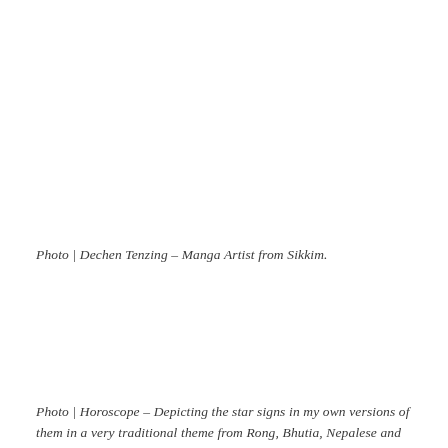Photo | Dechen Tenzing – Manga Artist from Sikkim.
Photo | Horoscope – Depicting the star signs in my own versions of them in a very traditional theme from Rong, Bhutia, Nepalese and other tribes of the